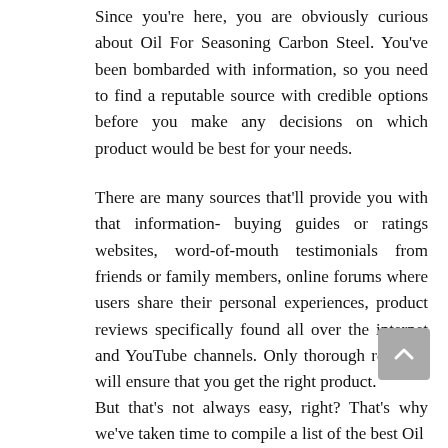Since you're here, you are obviously curious about Oil For Seasoning Carbon Steel. You've been bombarded with information, so you need to find a reputable source with credible options before you make any decisions on which product would be best for your needs.
There are many sources that'll provide you with that information- buying guides or ratings websites, word-of-mouth testimonials from friends or family members, online forums where users share their personal experiences, product reviews specifically found all over the internet and YouTube channels. Only thorough research will ensure that you get the right product.
But that's not always easy, right? That's why we've taken time to compile a list of the best Oil